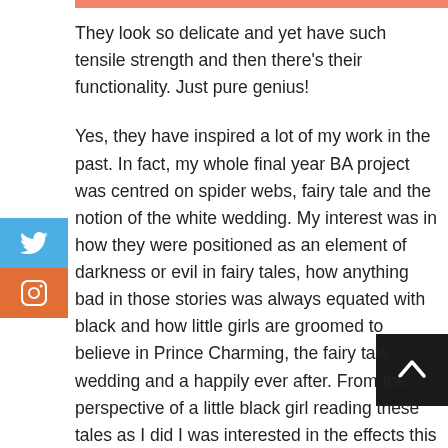They look so delicate and yet have such tensile strength and then there's their functionality. Just pure genius!
Yes, they have inspired a lot of my work in the past. In fact, my whole final year BA project was centred on spider webs, fairy tale and the notion of the white wedding. My interest was in how they were positioned as an element of darkness or evil in fairy tales, how anything bad in those stories was always equated with black and how little girls are groomed to believe in Prince Charming, the fairy tale wedding and a happily ever after. From the perspective of a little black girl reading these tales as I did I was interested in the effects this has on the psyche of the black child. I've also done a few sculptural pieces using wire and crystal beads, which were placed in natural environments to evoke the feel of spider